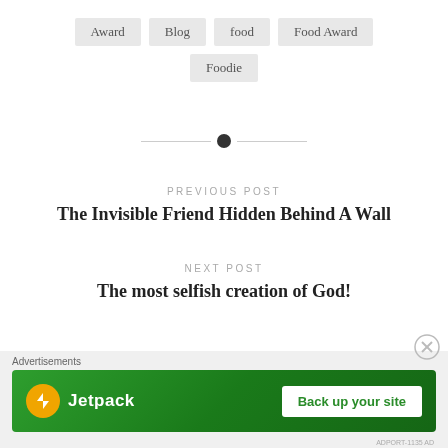Award
Blog
food
Food Award
Foodie
PREVIOUS POST
The Invisible Friend Hidden Behind A Wall
NEXT POST
The most selfish creation of God!
Advertisements
[Figure (other): Jetpack advertisement banner with green background showing Jetpack logo and 'Back up your site' button]